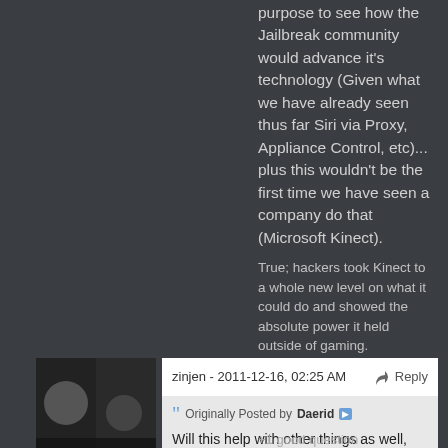purpose to see how the Jailbreak community would advance it's technology (Given what we have already seen thus far Siri via Proxy, Appliance Control, etc)... plus this wouldn't be the first time we have seen a company do that (Microsoft Kinect).
True; hackers took Kinect to a whole new level on what it could do and showed the absolute power it held outside of gaming.
zinjen - 2011-12-16, 02:25 AM Reply
Originally Posted by Daerid
Will this help with other things as well, such as jailbreaking?
+1 good question